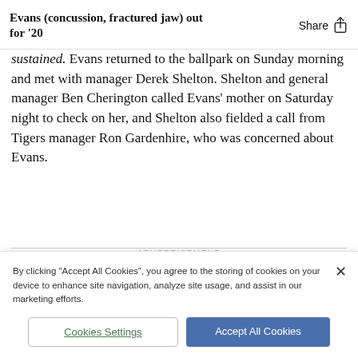Evans (concussion, fractured jaw) out for '20
sustained. Evans returned to the ballpark on Sunday morning and met with manager Derek Shelton. Shelton and general manager Ben Cherington called Evans' mother on Saturday night to check on her, and Shelton also fielded a call from Tigers manager Ron Gardenhire, who was concerned about Evans.
ADVERTISEMENT
By clicking "Accept All Cookies", you agree to the storing of cookies on your device to enhance site navigation, analyze site usage, and assist in our marketing efforts.